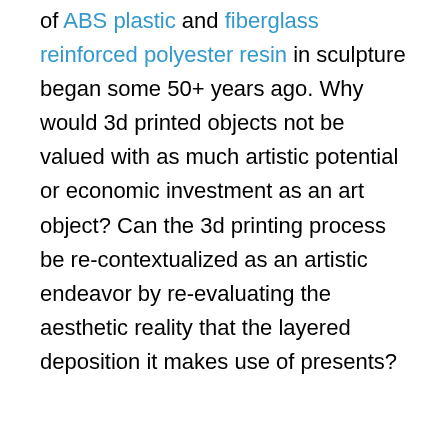of ABS plastic and fiberglass reinforced polyester resin in sculpture began some 50+ years ago. Why would 3d printed objects not be valued with as much artistic potential or economic investment as an art object? Can the 3d printing process be re-contextualized as an artistic endeavor by re-evaluating the aesthetic reality that the layered deposition it makes use of presents?
[Figure (photo): Photo of two sculptural objects resembling bags or vessels with dark straps, one tan/brown and one cream/ivory colored, on a light gray background. A second lighter rectangular image appears partially cut off on the right side.]